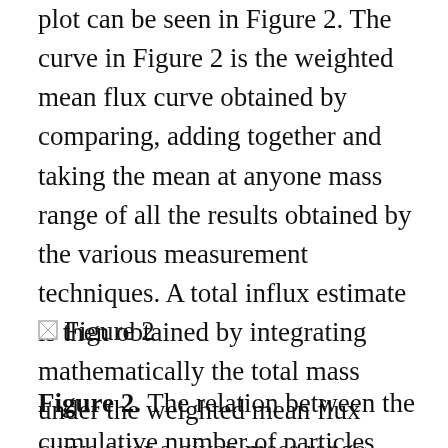plot can be seen in Figure 2. The curve in Figure 2 is the weighted mean flux curve obtained by comparing, adding together and taking the mean at anyone mass range of all the results obtained by the various measurement techniques. A total influx estimate is then obtained by integrating mathematically the total mass under the weighted mean flux curve over a given mass range.
[Figure (other): Figure 2 image placeholder (broken image icon with label 'Figure 2')]
Figure 2. The relation between the cumulative number of particles and the lower limit of mass